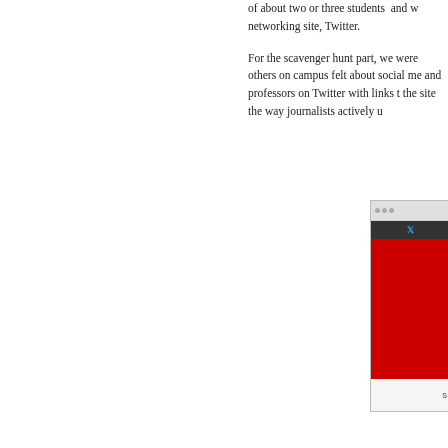of about two or three students  and w networking site, Twitter.
For the scavenger hunt part, we were others on campus felt about social me and professors on Twitter with links t the site the way journalists actively u
[Figure (screenshot): Screenshot of Twitter website showing browser chrome, dark navigation bar with Twitter bird icon, and a large red content area below]